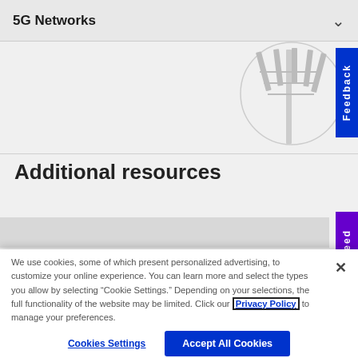5G Networks
[Figure (photo): Partial view of a cell tower/antenna structure inside a circle, against a light background]
Additional resources
We use cookies, some of which present personalized advertising, to customize your online experience. You can learn more and select the types you allow by selecting “Cookie Settings.” Depending on your selections, the full functionality of the website may be limited. Click our Privacy Policy to manage your preferences.
Cookies Settings
Accept All Cookies